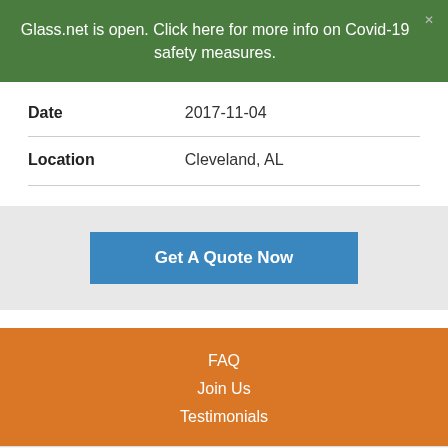Glass.net is open. Click here for more info on Covid-19 safety measures.
| Date | 2017-11-04 |
| Location | Cleveland, AL |
Get A Quote Now
FAQ
Join Us
Testimonials
We use cookies to enhance your experience. Cookie settings